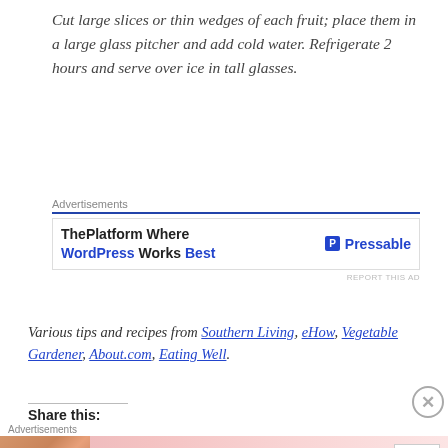Cut large slices or thin wedges of each fruit; place them in a large glass pitcher and add cold water. Refrigerate 2 hours and serve over ice in tall glasses.
[Figure (screenshot): Advertisement banner for Pressable hosting: 'ThePlatform Where WordPress Works Best' with Pressable logo on right]
Various tips and recipes from Southern Living, eHow, Vegetable Gardener, About.com, Eating Well.
Share this:
[Figure (screenshot): Advertisement banner for Victoria's Secret: 'SHOP THE COLLECTION' with SHOP NOW button and model photo]